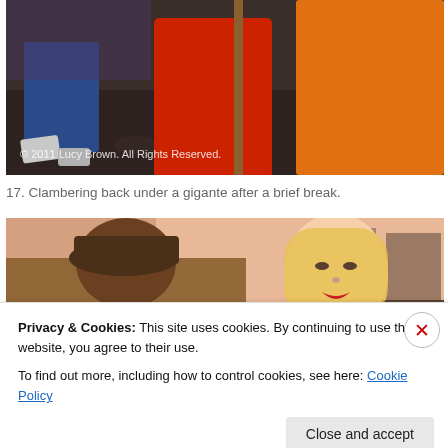[Figure (photo): Photo showing people in colorful costumes (blue jeans, red, orange) near wooden stilts on dark cobblestone ground, with copyright text overlay reading '© 2011 Lucy Brown. All Rights Reserved.']
17. Clambering back under a gigante after a brief break.
[Figure (photo): Photo showing a person from behind facing a large female gigante figure with blonde hair and red lips, with a pink/peach building with balconies in the background.]
Privacy & Cookies: This site uses cookies. By continuing to use this website, you agree to their use.
To find out more, including how to control cookies, see here: Cookie Policy